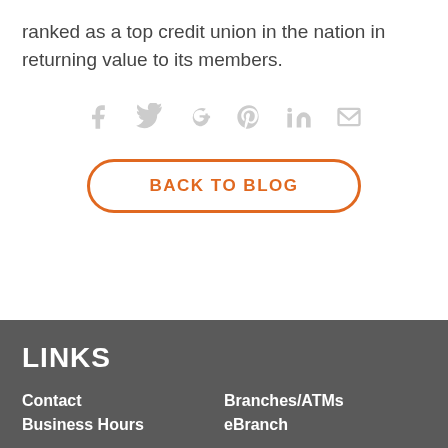ranked as a top credit union in the nation in returning value to its members.
[Figure (infographic): Social media sharing icons: Facebook, Twitter, Google+, Pinterest, LinkedIn, Email — all in light gray]
BACK TO BLOG
LINKS
Contact
Branches/ATMs
Business Hours
eBranch